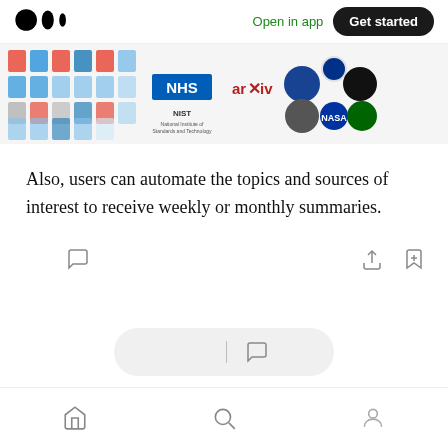Medium app navigation bar with logo, 'Open in app', and 'Get started' button
[Figure (screenshot): A collage of document icons, logos including NHS, arXiv, NIST, NASA, CERN, and various other institutional logos and badges arranged in a grid strip]
Also, users can automate the topics and sources of interest to receive weekly or monthly summaries.
[Figure (infographic): Article action icons row: clapping hands, comment bubble (left side); share/upload, bookmark-add (right side)]
[Figure (infographic): Floating bottom action bar with clapping hands icon, divider, and comment bubble icon]
[Figure (infographic): Bottom navigation bar with home icon, search icon, and profile icon]